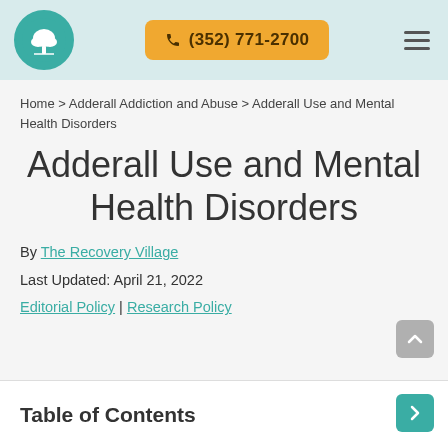(352) 771-2700
Home > Adderall Addiction and Abuse > Adderall Use and Mental Health Disorders
Adderall Use and Mental Health Disorders
By The Recovery Village
Last Updated: April 21, 2022
Editorial Policy | Research Policy
Table of Contents